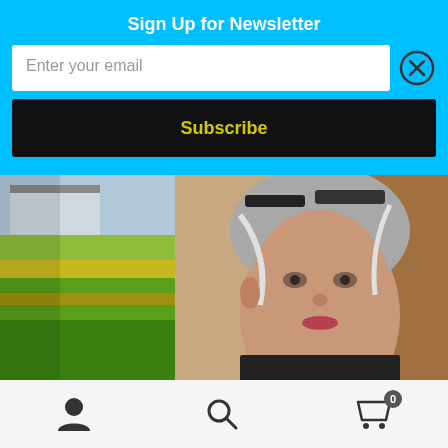Sign Up for Newsletter
Enter your email
Subscribe
[Figure (photo): A woman with gray hair and glasses on her head, standing in front of a painting of a rural landscape with green fields and a building.]
User icon, Search icon, Cart icon with badge showing 0